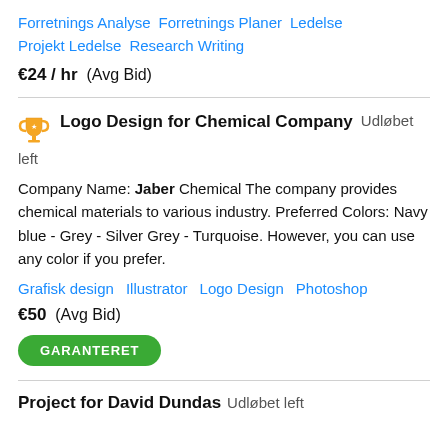Forretnings Analyse   Forretnings Planer   Ledelse   Projekt Ledelse   Research Writing
€24 / hr  (Avg Bid)
Logo Design for Chemical Company  Udløbet left
Company Name: Jaber Chemical The company provides chemical materials to various industry. Preferred Colors: Navy blue - Grey - Silver Grey - Turquoise. However, you can use any color if you prefer.
Grafisk design   Illustrator   Logo Design   Photoshop
€50  (Avg Bid)
GARANTERET
Project for David Dundas  Udløbet left